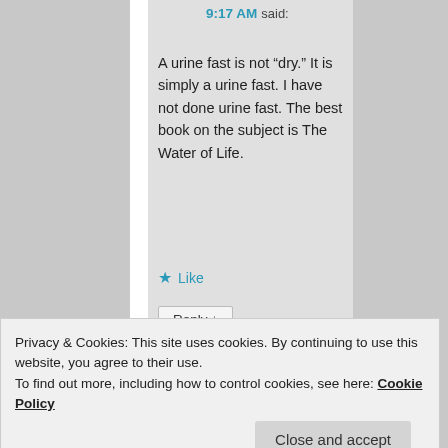9:17 AM said:
A urine fast is not “dry.” It is simply a urine fast. I have not done urine fast. The best book on the subject is The Water of Life.
★ Like
Reply ↓
Dallas on May 2,
my experience urine
Privacy & Cookies: This site uses cookies. By continuing to use this website, you agree to their use.
To find out more, including how to control cookies, see here: Cookie Policy
Close and accept